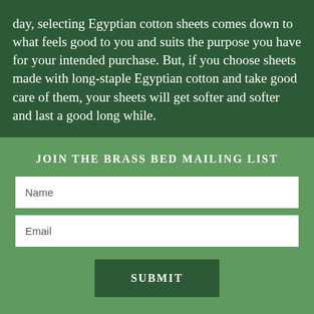day, selecting Egyptian cotton sheets comes down to what feels good to you and suits the purpose you have for your intended purchase. But, if you choose sheets made with long-staple Egyptian cotton and take good care of them, your sheets will get softer and softer and last a good long while.
JOIN THE BRASS BED MAILING LIST
Name
Email
SUBMIT